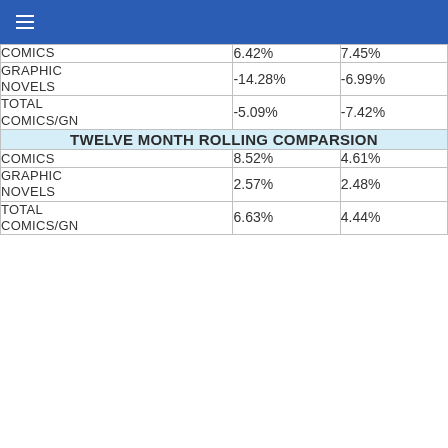≡
| COMICS | 6.42% | 7.45% |
| GRAPHIC NOVELS | -14.28% | -6.99% |
| TOTAL COMICS/GN | -5.09% | -7.42% |
| TWELVE MONTH ROLLING COMPARSION |  |  |
| COMICS | 8.52% | 4.61% |
| GRAPHIC NOVELS | 2.57% | 2.48% |
| TOTAL COMICS/GN | 6.63% | 4.44% |